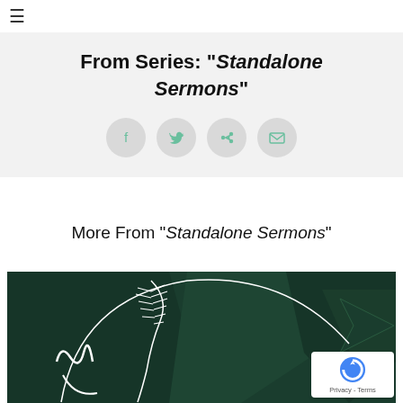≡
From Series: "Standalone Sermons"
[Figure (infographic): Four circular social share icons (Facebook, Twitter, share/forward, email) with teal icons on light grey circles]
More From "Standalone Sermons"
[Figure (photo): Dark green abstract 3D paper/geometric composition with a white wheat stalk and cursive white text/logo overlay, bottom text partially visible]